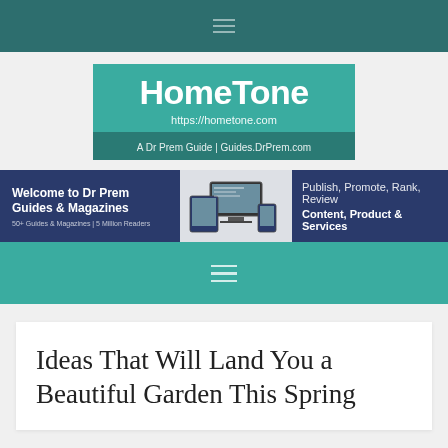HomeTone https://hometone.com A Dr Prem Guide | Guides.DrPrem.com
[Figure (logo): HomeTone website logo with teal background, showing site name, URL, and Dr Prem Guide tagline]
[Figure (infographic): Banner ad for Dr Prem Guides & Magazines: Welcome to Dr Prem Guides & Magazines, 50+ Guides & Magazines | 5 Million Readers. Publish, Promote, Rank, Review Content, Product & Services]
Ideas That Will Land You a Beautiful Garden This Spring